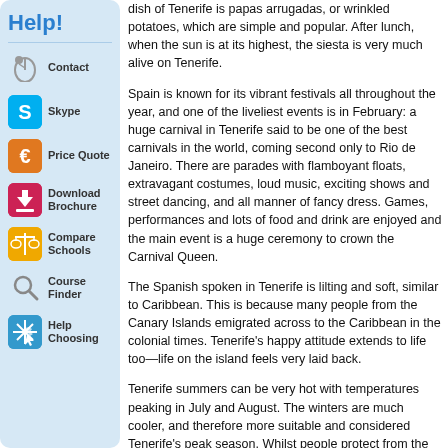Help!
Contact
Skype
Price Quote
Download Brochure
Compare Schools
Course Finder
Help Choosing
dish of Tenerife is papas arrugadas, or wrinkled potatoes, which are simple and popular. After lunch, when the sun is at its highest, the siesta is very much alive on Tenerife.
Spain is known for its vibrant festivals all throughout the year, and one of the liveliest events is in February: a huge carnival in Tenerife said to be one of the best carnivals in the world, coming second only to Rio de Janeiro. There are parades with flamboyant floats, extravagant costumes, loud music, exciting shows and street dancing, and all manner of fancy dress. Games, performances and lots of food and drink are enjoyed and the main event is a huge ceremony to crown the Carnival Queen.
The Spanish spoken in Tenerife is lilting and soft, similar to Caribbean. This is because many people from the Canary Islands emigrated across to the Caribbean in the colonial times. Tenerife's happy attitude extends to life too—life on the island feels very laid back.
Tenerife summers can be very hot with temperatures peaking in July and August. The winters are much cooler, and therefore more suitable and considered Tenerife's peak season. Whilst people protect from the sun, when the temperatures are at their lowest in December and January, the island's many picturesque nature trails are very appealing.
The costs of living on Tenerife are cheaper than in most of Europe, with an increase in the main tourist hotspots, and slightly over the norm, but groceries and public transport remain low-priced in a